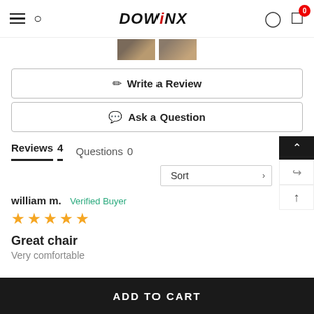DOWINX — navigation header with hamburger, search, logo, user, cart (0)
[Figure (photo): Two small product image thumbnails partially visible]
Write a Review
Ask a Question
Reviews 4   Questions 0
Sort
william m.  Verified Buyer
★★★★★
Great chair
Very comfortable
ADD TO CART